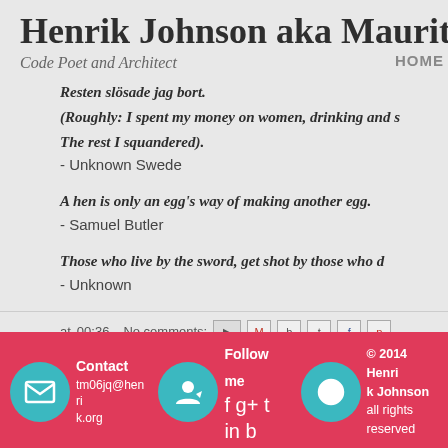Henrik Johnson aka Mauritz
Code Poet and Architect
HOME
Resten slösade jag bort.
(Roughly: I spent my money on women, drinking and s
The rest I squandered).
- Unknown Swede
A hen is only an egg's way of making another egg.
- Samuel Butler
Those who live by the sword, get shot by those who d
- Unknown
at 00:36   No comments:   Contact tm06jq@henrik.org   Follow me   © 2014 Henrik Johnson all rights reserved